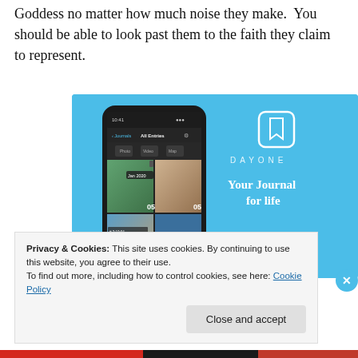Goddess no matter how much noise they make.  You should be able to look past them to the faith they claim to represent.
[Figure (screenshot): DayOne app advertisement on a light blue background. Shows a smartphone mockup with photo grid journal interface on the left, and 'DAYONE Your Journal for life' branding on the right.]
Privacy & Cookies: This site uses cookies. By continuing to use this website, you agree to their use.
To find out more, including how to control cookies, see here: Cookie Policy
Close and accept